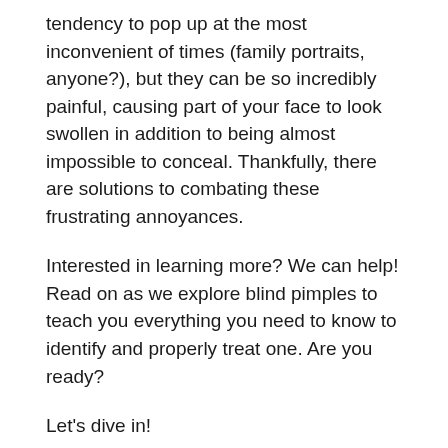tendency to pop up at the most inconvenient of times (family portraits, anyone?), but they can be so incredibly painful, causing part of your face to look swollen in addition to being almost impossible to conceal. Thankfully, there are solutions to combating these frustrating annoyances.
Interested in learning more? We can help! Read on as we explore blind pimples to teach you everything you need to know to identify and properly treat one. Are you ready?
Let's dive in!
First Things First: What Exactly Is a Blind Pimple?